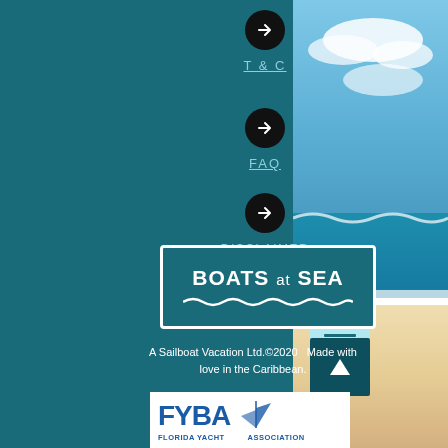[Figure (screenshot): Website footer section for Boats at Sea / Sailboat Vacation Ltd. Teal background with navigation links (T&C, FAQ, Disclaimer), Boats at Sea logo, copyright text, and FYBA (Florida Yacht Association) logo. Beach photo visible on right side.]
T & C
FAQ
DISCLAIMER
BOATS at SEA
A Sailboat Vacation Ltd.©2020   Made with love in the Caribbean.
[Figure (logo): FYBA Florida Yacht Association logo with blue text and sailboat graphic]